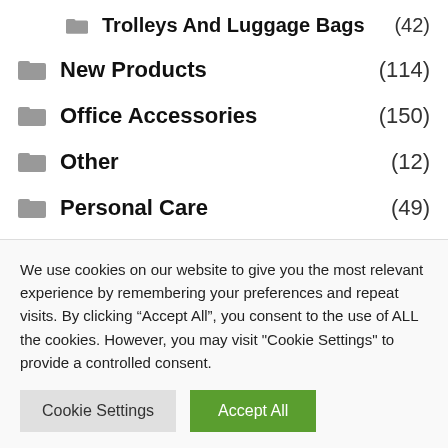Trolleys And Luggage Bags (42)
New Products (114)
Office Accessories (150)
Other (12)
Personal Care (49)
Sale! (378)
We use cookies on our website to give you the most relevant experience by remembering your preferences and repeat visits. By clicking “Accept All”, you consent to the use of ALL the cookies. However, you may visit "Cookie Settings" to provide a controlled consent.